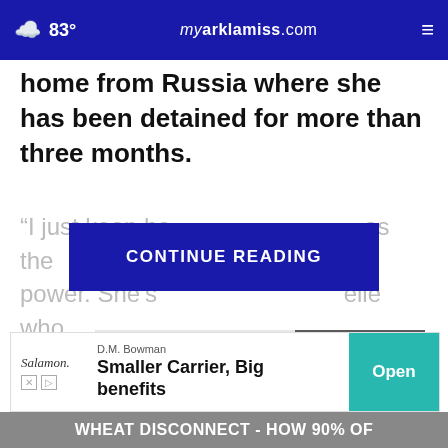83° myarklamiss.com
home from Russia where she has been detained for more than three months.
“I just keep he as the power. She’s elle who
CONTINUE READING
[Figure (photo): Close-up photo of feet wearing green/olive suede slip-on sneaker shoes with white soles and perforated design, paired with white pants, on a dark pavement]
D.M. Bowman
Smaller Carrier, Big benefits
Open
Wheat Disconnect - How 90% of